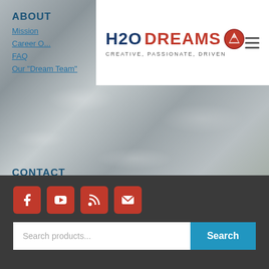ABOUT
Mission
Career Opportunities
FAQ
Our "Dream Team"
[Figure (logo): H2ODREAMS logo with fish icon, tagline CREATIVE, PASSIONATE, DRIVEN and hamburger menu]
CONTACT
3851 GREEN RIVER COVE RD, SALUDA, NC (NO MAIL)
(828) 571-0276
INFO@H2ODREAMS.COM
[Figure (infographic): Social media icons row: Facebook, YouTube, RSS, Email in red rounded squares]
Search products...